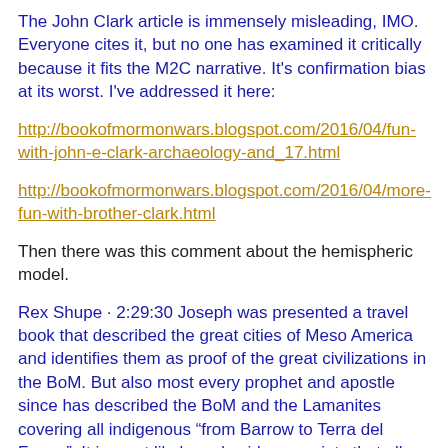The John Clark article is immensely misleading, IMO. Everyone cites it, but no one has examined it critically because it fits the M2C narrative. It's confirmation bias at its worst. I've addressed it here:
http://bookofmormonwars.blogspot.com/2016/04/fun-with-john-e-clark-archaeology-and_17.html
http://bookofmormonwars.blogspot.com/2016/04/more-fun-with-brother-clark.html
Then there was this comment about the hemispheric model.
Rex Shupe · 2:29:30 Joseph was presented a travel book that described the great cities of Meso America and identifies them as proof of the great civilizations in the BoM. But also most every prophet and apostle since has described the BoM and the Lamanites covering all indigenous "from Barrow to Terra del Fuego". It is most likely and evidence points that all prophets including Joseph had a hemispheric interpretation of the BoM. The text of the BoM points that direction as well. As does it discount the melding